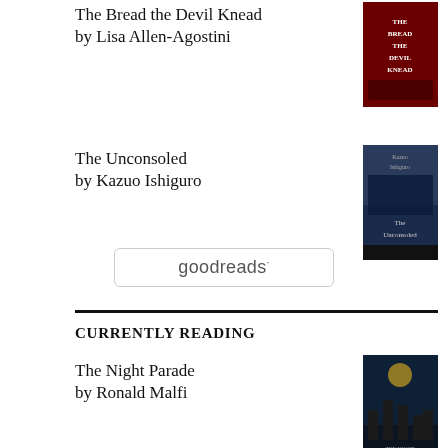The Bread the Devil Knead
by Lisa Allen-Agostini
[Figure (illustration): Book cover of 'The Bread the Devil Knead' - dark cover with title text]
The Unconsoled
by Kazuo Ishiguro
[Figure (illustration): Book cover of 'The Unconsoled' by Kazuo Ishiguro - dark blue atmospheric cover]
[Figure (logo): Goodreads logo in a rounded rectangle box]
CURRENTLY READING
The Night Parade
by Ronald Malfi
[Figure (illustration): Book cover of 'The Night Parade' by Ronald Malfi - dark atmospheric cover]